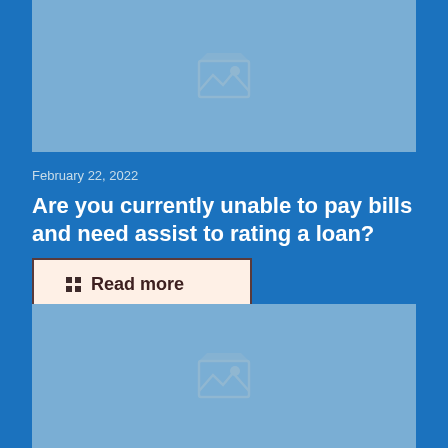[Figure (photo): Image placeholder with photo icon, light blue background, top card]
February 22, 2022
Are you currently unable to pay bills and need assist to rating a loan?
Read more
[Figure (photo): Image placeholder with photo icon, light blue background, bottom card]